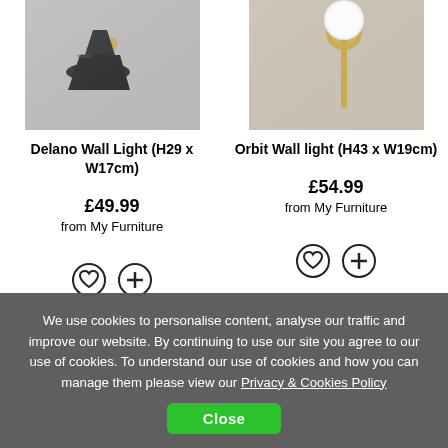[Figure (photo): Photo of Delano Wall Light, a black mid-century style wall sconce with brass accent]
[Figure (photo): Photo of Orbit Wall Light, a brass globe wall sconce with white glass ball shade]
Delano Wall Light (H29 x W17cm)
Orbit Wall light (H43 x W19cm)
£49.99
from My Furniture
£54.99
from My Furniture
We use cookies to personalise content, analyse our traffic and improve our website. By continuing to use our site you agree to our use of cookies. To understand our use of cookies and how you can manage them please view our Privacy & Cookies Policy
Close